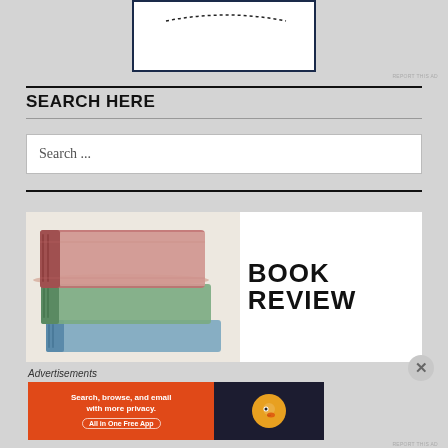[Figure (illustration): Top portion of a website sidebar showing a white box with a dotted arc/smile design inside, bordered in dark navy blue, on a gray background]
SEARCH HERE
Search ...
[Figure (illustration): Book review banner image showing a stack of watercolor-illustrated books (red, green, blue) on left side with 'BOOK REVIEW' text on right side in bold serif font on white background]
Advertisements
[Figure (screenshot): DuckDuckGo advertisement banner: orange section with text 'Search, browse, and email with more privacy. All in One Free App' and dark section with DuckDuckGo duck logo in orange circle]